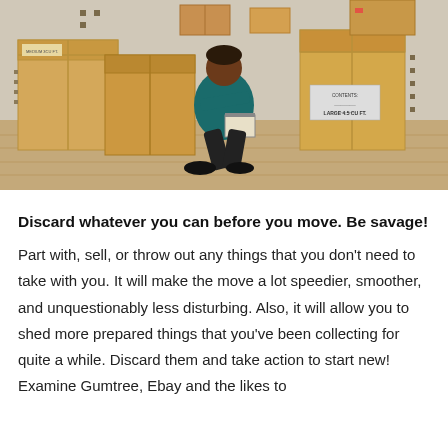[Figure (photo): A man crouching on a wooden floor surrounded by many cardboard moving boxes, writing on a clipboard. One box is labeled 'LARGE 4.5 CU FT.']
Discard whatever you can before you move. Be savage!
Part with, sell, or throw out any things that you don't need to take with you. It will make the move a lot speedier, smoother, and unquestionably less disturbing. Also, it will allow you to shed more prepared things that you've been collecting for quite a while. Discard them and take action to start new! Examine Gumtree, Ebay and the likes to